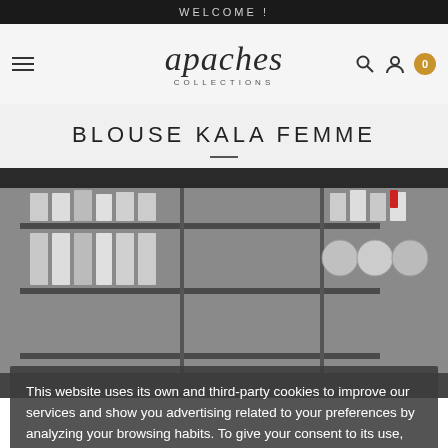WELCOME !
[Figure (logo): Apaches Collections logo with script font and subtitle COLLECTIONS]
BLOUSE KALA FEMME
[Figure (photo): Product photo of blouse kala femme on store shelving background]
This website uses its own and third-party cookies to improve our services and show you advertising related to your preferences by analyzing your browsing habits. To give your consent to its use, press the Accept button. More information customize cookies
I ACCEPT